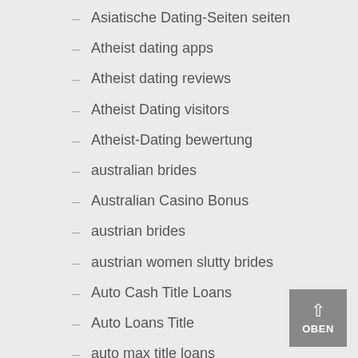– Asiatische Dating-Seiten seiten
– Atheist dating apps
– Atheist dating reviews
– Atheist Dating visitors
– Atheist-Dating bewertung
– australian brides
– Australian Casino Bonus
– austrian brides
– austrian women slutty brides
– Auto Cash Title Loans
– Auto Loans Title
– auto max title loans